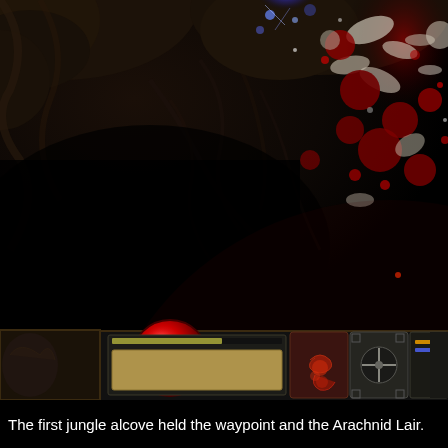[Figure (screenshot): Screenshot from Diablo II video game showing a dark dungeon/cave scene. The upper right shows a battle scene with red blood splatters, white skeletal remains, blue magical effects, and creatures/enemies. The cave walls have dark stone textures with organic-looking veins/roots. The bottom shows the game HUD including a large red orb (health globe) on the left, skill buttons, a crosshair button, minimap, and stat bars in ornate metallic frames.]
The first jungle alcove held the waypoint and the Arachnid Lair.